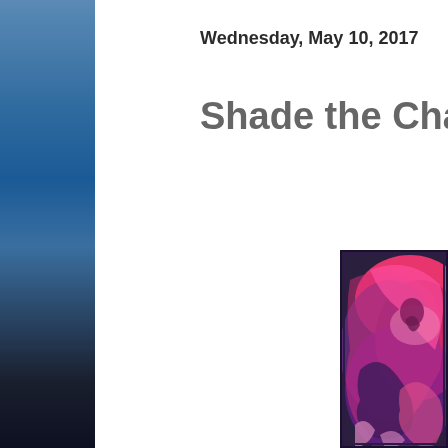Wednesday, May 10, 2017
Shade the Changing
[Figure (illustration): Colorful psychedelic illustration with pink, magenta, and purple tones showing abstract figures and swirling shapes, partially visible on the right side of the page]